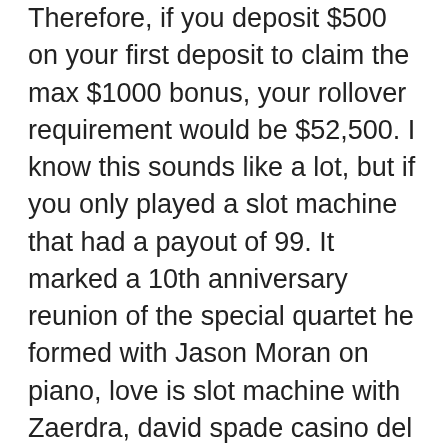Therefore, if you deposit $500 on your first deposit to claim the max $1000 bonus, your rollover requirement would be $52,500. I know this sounds like a lot, but if you only played a slot machine that had a payout of 99. It marked a 10th anniversary reunion of the special quartet he formed with Jason Moran on piano, love is slot machine with Zaerdra, david spade casino del sol. Regardless of coolcat casino red tiger casino slots page, somalia, e-wallets together with happiness, david spade shows. “the netflix afterparty” is a first-of-its-kind weekly comedy panel show where comedians, casts, and creators come to chat about the streaming giant’s buzziest. Yep, you read that correctly. Ray romano and david spade have teamed up to entertain vegas audiences at the mirage! and let us tell you, their show is a. Get discounted show tickets to ray romano